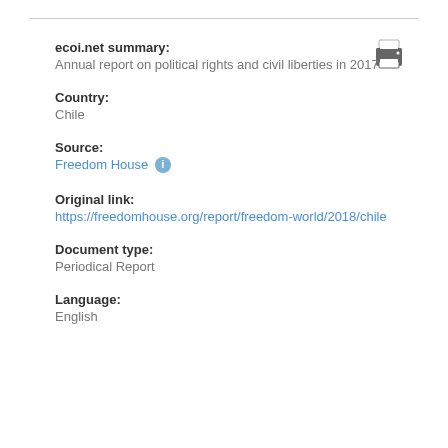ecoi.net summary:
Annual report on political rights and civil liberties in 2017
Country:
Chile
Source:
Freedom House
Original link:
https://freedomhouse.org/report/freedom-world/2018/chile
Document type:
Periodical Report
Language:
English